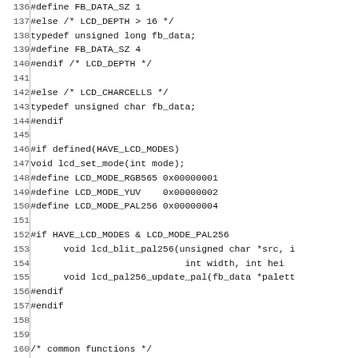Code listing lines 136-166, C preprocessor and LCD function declarations
136 | #define FB_DATA_SZ 1
137 | #else /* LCD_DEPTH > 16 */
138 | typedef unsigned long fb_data;
139 | #define FB_DATA_SZ 4
140 | #endif /* LCD_DEPTH */
141 |
142 | #else /* LCD_CHARCELLS */
143 | typedef unsigned char fb_data;
144 | #endif
145 |
146 | #if defined(HAVE_LCD_MODES)
147 | void lcd_set_mode(int mode);
148 | #define LCD_MODE_RGB565 0x00000001
149 | #define LCD_MODE_YUV    0x00000002
150 | #define LCD_MODE_PAL256 0x00000004
151 |
152 | #if HAVE_LCD_MODES & LCD_MODE_PAL256
153 |       void lcd_blit_pal256(unsigned char *src, i
154 |                             int width, int hei
155 |       void lcd_pal256_update_pal(fb_data *palett
156 | #endif
157 | #endif
158 |
159 |
160 | /* common functions */
161 | extern void lcd_write_command(int byte);
162 | extern void lcd_write_command_e(int cmd, int c
163 | extern void lcd_write_command_ex(int cmd, int
164 | extern void lcd_write_data(const fb_data* p_by
165 | extern void lcd_init(void) INIT_ATTR;
166 | extern void lcd_init_device(void) INIT_ATTR;